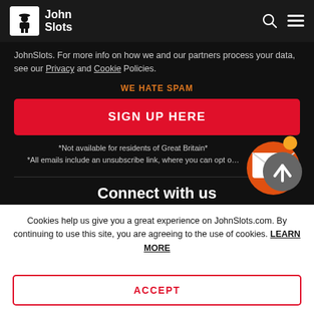John Slots
JohnSlots. For more info on how we and our partners process your data, see our Privacy and Cookie Policies.
WE HATE SPAM
SIGN UP HERE
*Not available for residents of Great Britain* *All emails include an unsubscribe link, where you can opt out
[Figure (illustration): Email envelope icon with orange notification dot on orange circle background]
Connect with us
[Figure (illustration): Grey scroll-to-top button with upward arrow]
Cookies help us give you a great experience on JohnSlots.com. By continuing to use this site, you are agreeing to the use of cookies. LEARN MORE
ACCEPT